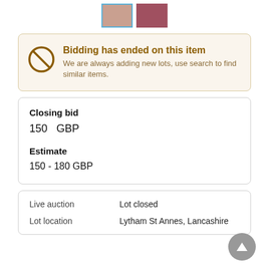[Figure (photo): Two small thumbnail images of an auction item, first selected with blue border]
Bidding has ended on this item
We are always adding new lots, use search to find similar items.
Closing bid
150  GBP
Estimate
150 - 180 GBP
|  |  |
| --- | --- |
| Live auction | Lot closed |
| Lot location | Lytham St Annes, Lancashire |